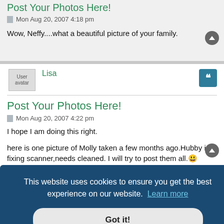Post Your Photos Here!
Mon Aug 20, 2007 4:18 pm
Wow, Neffy....what a beautiful picture of your family.
Lisa
Post Your Photos Here!
Mon Aug 20, 2007 4:22 pm
I hope I am doing this right.
here is one picture of Molly taken a few months ago.Hubby is fixing scanner,needs cleaned. I will try to post them all. 😀
This website uses cookies to ensure you get the best experience on our website. Learn more
Got it!
almostfamous;682218 wrote: :yh_danceNotToday's Birthday bash last